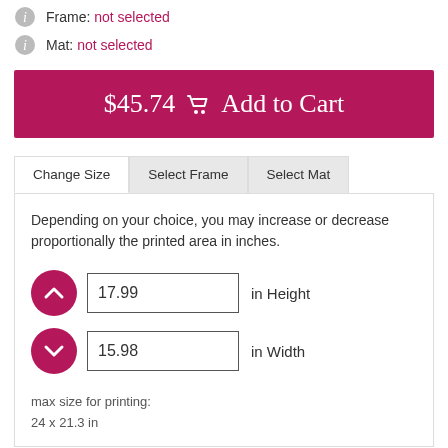Frame: not selected
Mat: not selected
$45.74 🛒 Add to Cart
Change Size | Select Frame | Select Mat
Depending on your choice, you may increase or decrease proportionally the printed area in inches.
17.99 in Height
15.98 in Width
max size for printing:
24 x 21.3 in